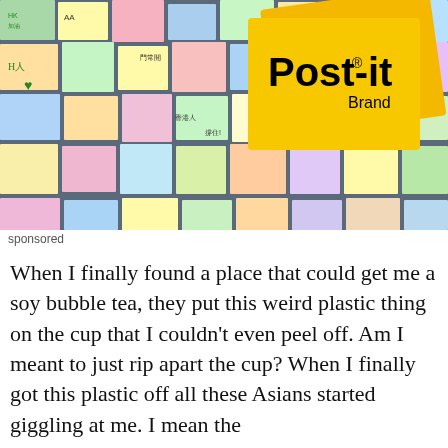[Figure (photo): Advertisement banner showing a wall covered in colorful Post-it notes with Chinese writing, featuring the Post-it Brand logo in the top right corner.]
sponsored
When I finally found a place that could get me a soy bubble tea, they put this weird plastic thing on the cup that I couldn't even peel off. Am I meant to just rip apart the cup? When I finally got this plastic off all these Asians started giggling at me. I mean the disrespect...is...just...beyond.
All in all, I'd say that bubble tea promises a lot but delivers very little. While the flavours are exciting, it's hard to see why everyone's getting around such